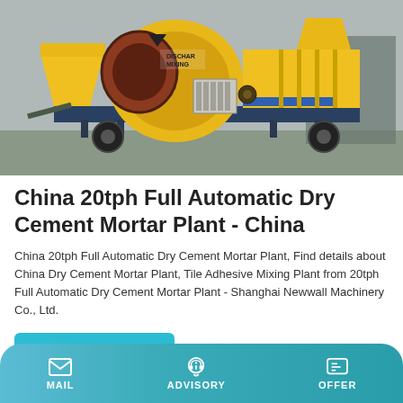[Figure (photo): Yellow cement mixer / dry mortar plant machine on wheels, parked outdoors. Label 'DISCHAR MIXING' visible on the drum.]
China 20tph Full Automatic Dry Cement Mortar Plant - China
China 20tph Full Automatic Dry Cement Mortar Plant, Find details about China Dry Cement Mortar Plant, Tile Adhesive Mixing Plant from 20tph Full Automatic Dry Cement Mortar Plant - Shanghai Newwall Machinery Co., Ltd.
Learn More
MAIL   ADVISORY   OFFER